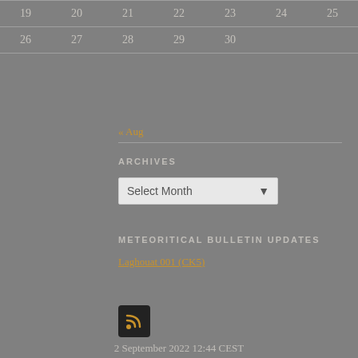| 19 | 20 | 21 | 22 | 23 | 24 | 25 |
| 26 | 27 | 28 | 29 | 30 |  |  |
« Aug
ARCHIVES
Select Month
METEORITICAL BULLETIN UPDATES
Laghouat 001 (CK5)
[Figure (other): RSS feed icon - dark square button with orange RSS symbol]
2 September 2022 12:44 CEST